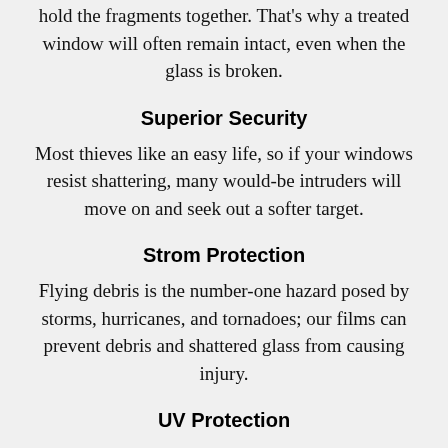hold the fragments together. That's why a treated window will often remain intact, even when the glass is broken.
Superior Security
Most thieves like an easy life, so if your windows resist shattering, many would-be intruders will move on and seek out a softer target.
Strom Protection
Flying debris is the number-one hazard posed by storms, hurricanes, and tornadoes; our films can prevent debris and shattered glass from causing injury.
UV Protection
Our Solar Safety and Security Films can block...